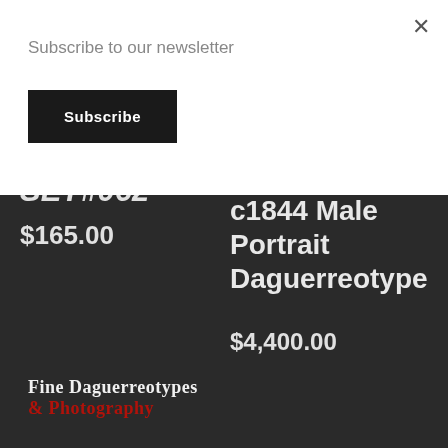Subscribe to our newsletter
Subscribe
×
$165.00
Phenomenal c1844 Male Portrait Daguerreotype
$4,400.00
[Figure (logo): Fine Daguerreotypes & Photography logo with white serif text on top line and red serif text on bottom line]